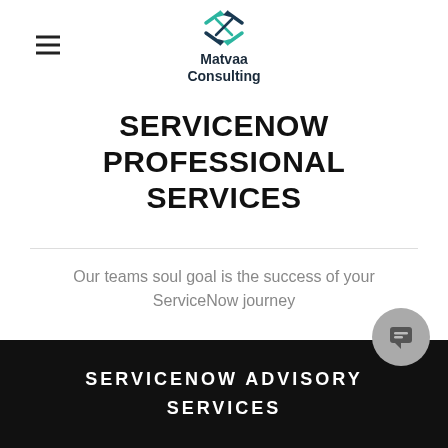[Figure (logo): Matvaa Consulting logo with teal/navy geometric X-arrow icon and bold text 'Matvaa Consulting']
SERVICENOW PROFESSIONAL SERVICES
Our teams soul goal is the success of your ServiceNow journey
SERVICENOW ADVISORY SERVICES